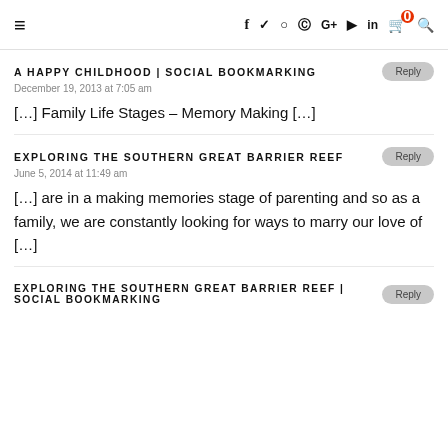≡  f  y  ○  ⊕  G+  ▶  in  🛒⁰  🔍
A HAPPY CHILDHOOD | SOCIAL BOOKMARKING
December 19, 2013 at 7:05 am
[…] Family Life Stages – Memory Making […]
EXPLORING THE SOUTHERN GREAT BARRIER REEF
June 5, 2014 at 11:49 am
[…] are in a making memories stage of parenting and so as a family, we are constantly looking for ways to marry our love of […]
EXPLORING THE SOUTHERN GREAT BARRIER REEF | SOCIAL BOOKMARKING